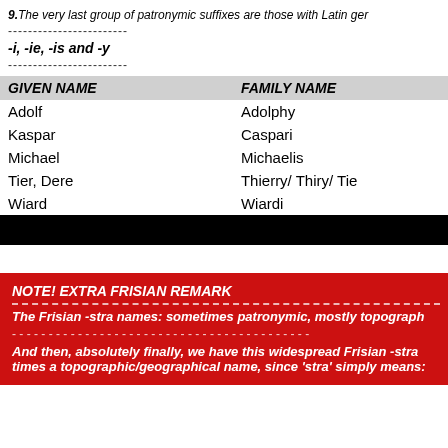9.The very last group of patronymic suffixes are those with Latin ger
------------------------
-i, -ie, -is and -y
------------------------
| GIVEN NAME | FAMILY NAME |
| --- | --- |
| Adolf | Adolphy |
| Kaspar | Caspari |
| Michael | Michaelis |
| Tier, Dere | Thierry/ Thiry/ Tie |
| Wiard | Wiardi |
NOTE! EXTRA FRISIAN REMARK
The Frisian -stra names: sometimes patronymic, mostly topograph
And then, absolutely finally, we have this widespread Frisian -stra times a topographic/geographical name, since 'stra' simply means: